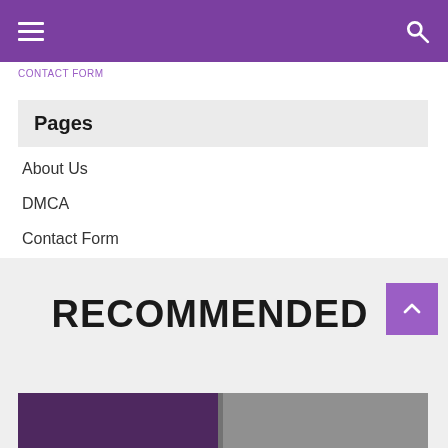Navigation bar with hamburger menu and search icon
CONTACT FORM
Pages
About Us
DMCA
Contact Form
Privacy Policy
RECOMMENDED
[Figure (photo): Bottom image strip showing a partially visible photo with purple and gray tones]